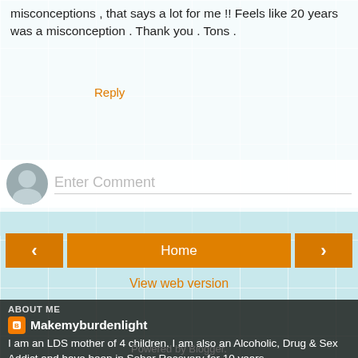misconceptions , that says a lot for me !! Feels like 20 years was a misconception . Thank you . Tons .
Reply
[Figure (screenshot): Comment input field with avatar placeholder and 'Enter Comment' placeholder text]
[Figure (screenshot): Navigation buttons: left arrow, Home, right arrow]
View web version
ABOUT ME
Makemyburdenlight
I am an LDS mother of 4 children. I am also an Alcoholic, Drug & Sex Addict and have been in Sober Recovery for 10 years.
View my complete profile
Powered by Blogger.